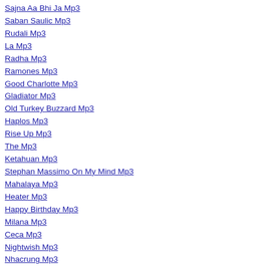Sajna Aa Bhi Ja Mp3
Saban Saulic Mp3
Rudali Mp3
La Mp3
Radha Mp3
Ramones Mp3
Good Charlotte Mp3
Gladiator Mp3
Old Turkey Buzzard Mp3
Haplos Mp3
Rise Up Mp3
The Mp3
Ketahuan Mp3
Stephan Massimo On My Mind Mp3
Mahalaya Mp3
Heater Mp3
Happy Birthday Mp3
Milana Mp3
Ceca Mp3
Nightwish Mp3
Nhacrung Mp3
Colbie Caillat Mp3
Papaya Mp3
Soldiers Of Allah Mp3
Harivarasanam Mp3